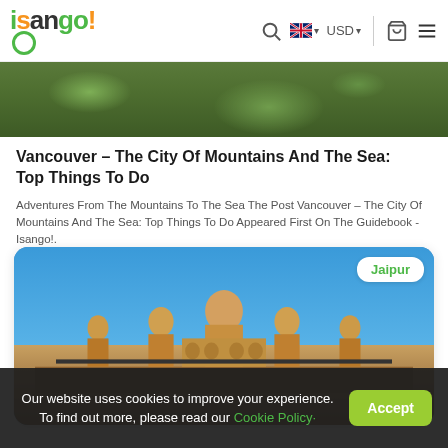isango! [nav: search, language UK, USD, cart, menu]
[Figure (photo): Aerial green view, top of a card for Vancouver article]
Vancouver – The City Of Mountains And The Sea: Top Things To Do
Adventures From The Mountains To The Sea The Post Vancouver – The City Of Mountains And The Sea: Top Things To Do Appeared First On The Guidebook - Isango!.
[Figure (photo): Photo of a large ornate Rajasthani palace (likely Albert Hall Museum), with blue sky, pigeons in foreground, and a 'Jaipur' label badge in top right]
Our website uses cookies to improve your experience. To find out more, please read our Cookie Policy· Accept